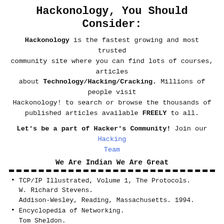Hackonology, You Should Consider:
Hackonology is the fastest growing and most trusted community site where you can find lots of courses, articles about Technology/Hacking/Cracking. Millions of people visit Hackonology! to search or browse the thousands of published articles available FREELY to all.
Let's be a part of Hacker's Community! Join our Hacking Team
We Are Indian We Are Great
TCP/IP Illustrated, Volume 1, The Protocols.
W. Richard Stevens.
Addison-Wesley, Reading, Massachusetts. 1994.
Encyclopedia of Networking.
Tom Sheldon.